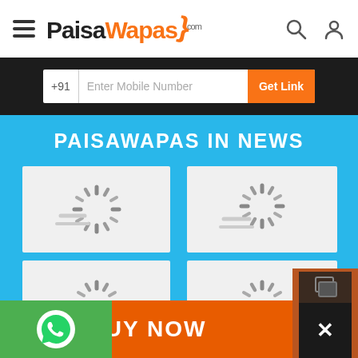PaisaWapas.com - navigation bar with hamburger menu, logo, search and user icons
+91  Enter Mobile Number  Get Link
PAISAWAPAS IN NEWS
[Figure (screenshot): Loading spinner placeholder image 1 (top-left)]
[Figure (screenshot): Loading spinner placeholder image 2 (top-right)]
[Figure (screenshot): Loading spinner placeholder image 3 (middle-left)]
[Figure (screenshot): Loading spinner placeholder image 4 (middle-right)]
[Figure (screenshot): Loading spinner placeholder image 5 (bottom-center)]
BUY NOW
[Figure (logo): WhatsApp icon on green background]
[Figure (illustration): Close button (x) on dark background]